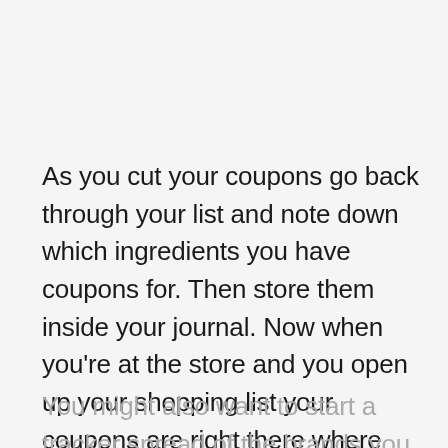As you cut your coupons go back through your list and note down which ingredients you have coupons for. Then store them inside your journal. Now when you're at the store and you open up your shopping list your coupons are right there where you need them!
You might also want to start a tracker spread of the brands you prefer, the stores where